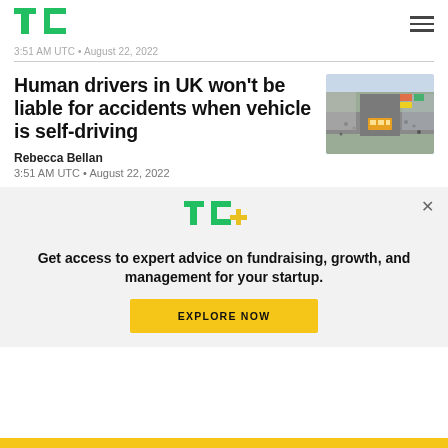TechCrunch logo and navigation
3:51 AM UTC • August 22, 2022
Human drivers in UK won't be liable for accidents when vehicle is self-driving
Rebecca Bellan
3:51 AM UTC • August 22, 2022
[Figure (photo): Aerial view of a busy UK city intersection with pedestrians and red buses]
Get access to expert advice on fundraising, growth, and management for your startup.
EXPLORE NOW